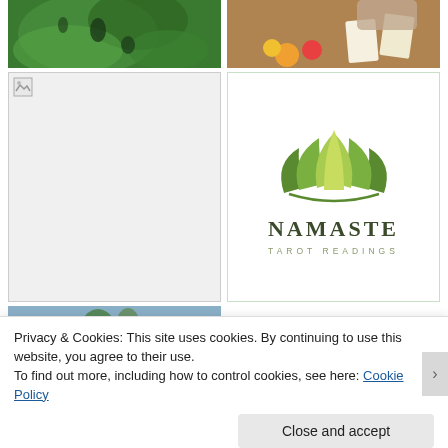[Figure (photo): Close-up of large green tropical leaf with holes (monstera)]
[Figure (photo): Person reading tarot cards with flowers on table]
[Figure (photo): Broken image placeholder (failed to load)]
[Figure (logo): Namaste Tarot Readings logo with green lotus flower graphic, text NAMASTE in dark green and TAROT READINGS in olive/gold]
[Figure (photo): Partial photo with blue sky and tropical plant]
Privacy & Cookies: This site uses cookies. By continuing to use this website, you agree to their use.
To find out more, including how to control cookies, see here: Cookie Policy
Close and accept